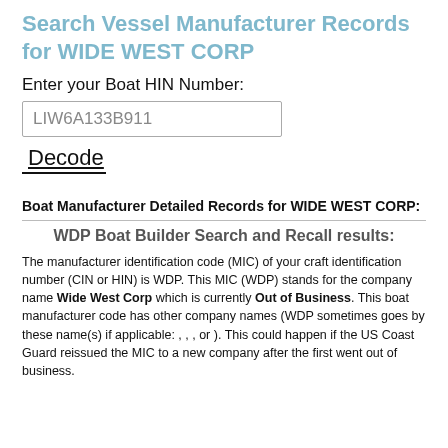Search Vessel Manufacturer Records for WIDE WEST CORP
Enter your Boat HIN Number:
LIW6A133B911
Decode
Boat Manufacturer Detailed Records for WIDE WEST CORP:
WDP Boat Builder Search and Recall results:
The manufacturer identification code (MIC) of your craft identification number (CIN or HIN) is WDP. This MIC (WDP) stands for the company name Wide West Corp which is currently Out of Business. This boat manufacturer code has other company names (WDP sometimes goes by these name(s) if applicable: , , , or ). This could happen if the US Coast Guard reissued the MIC to a new company after the first went out of business.